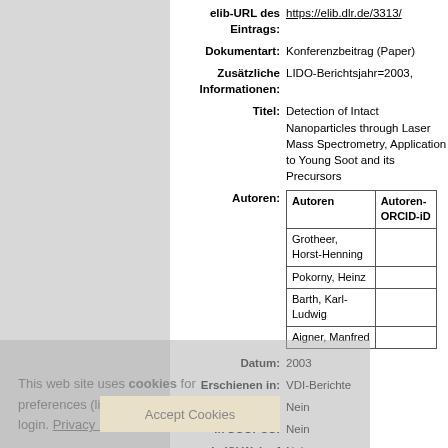elib-URL des Eintrags: https://elib.dlr.de/3313/
Dokumentart: Konferenzbeitrag (Paper)
Zusätzliche Informationen: LIDO-Berichtsjahr=2003,
Titel: Detection of Intact Nanoparticles through Laser Mass Spectrometry, Application to Young Soot and its Precursors
| Autoren | Autoren-ORCID-iD |
| --- | --- |
| Grotheer, Horst-Henning |  |
| Pokorny, Heinz |  |
| Barth, Karl-Ludwig |  |
| Aigner, Manfred |  |
Datum: 2003
Erschienen in: VDI-Berichte
Open Access: Nein
In SCOPUS: Nein
In ISI Web of Science: Nein
Band: 1750
Seitenbereich: Seiten 371-375
| Herausgeber | Herausgeber-ORCID-iD |
| --- | --- |
| VDI... |  |